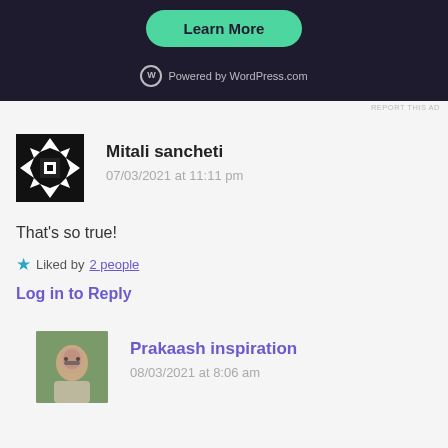[Figure (screenshot): Dark-themed WordPress.com ad banner with 'Learn More' teal button and 'Powered by WordPress.com' text]
REPORT THIS AD
[Figure (photo): Black and white geometric avatar pattern for Mitali sancheti]
Mitali sancheti
07/03/2021 at 11:11 pm
That's so true!
★ Liked by 2 people
Log in to Reply
[Figure (photo): Photo avatar of Prakaash inspiration, man with glasses]
Prakaash inspiration
08/03/2021 at 8:06 am